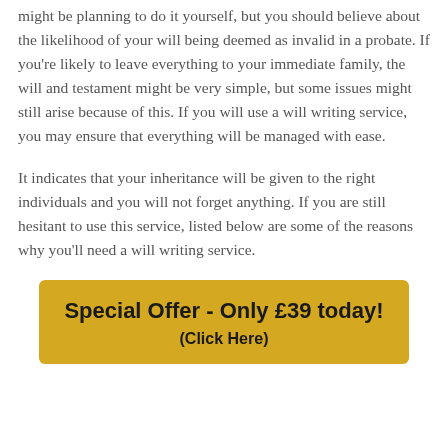might be planning to do it yourself, but you should believe about the likelihood of your will being deemed as invalid in a probate. If you're likely to leave everything to your immediate family, the will and testament might be very simple, but some issues might still arise because of this. If you will use a will writing service, you may ensure that everything will be managed with ease.
It indicates that your inheritance will be given to the right individuals and you will not forget anything. If you are still hesitant to use this service, listed below are some of the reasons why you'll need a will writing service.
[Figure (other): Golden/yellow promotional banner with bold text: 'Special Offer - Only £39 today!' and '(Click Here)' below it]